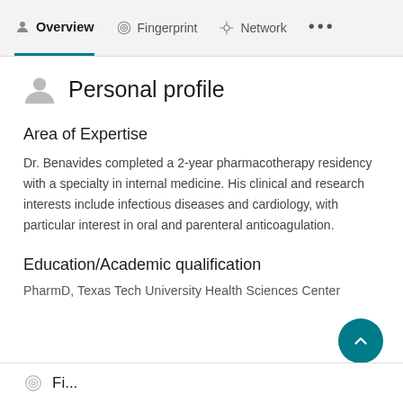Overview  Fingerprint  Network  ...
Personal profile
Area of Expertise
Dr. Benavides completed a 2-year pharmacotherapy residency with a specialty in internal medicine. His clinical and research interests include infectious diseases and cardiology, with particular interest in oral and parenteral anticoagulation.
Education/Academic qualification
PharmD, Texas Tech University Health Sciences Center